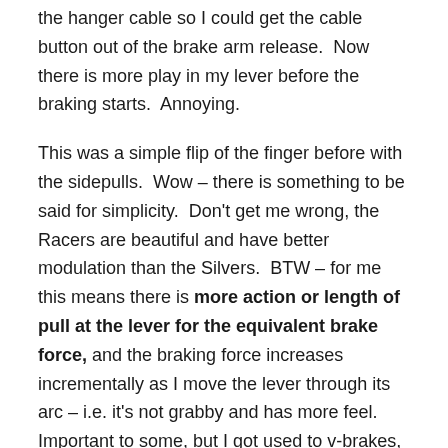the hanger cable so I could get the cable button out of the brake arm release.  Now there is more play in my lever before the braking starts.  Annoying.
This was a simple flip of the finger before with the sidepulls.  Wow – there is something to be said for simplicity.  Don't get me wrong, the Racers are beautiful and have better modulation than the Silvers.  BTW – for me this means there is more action or length of pull at the lever for the equivalent brake force, and the braking force increases incrementally as I move the lever through its arc – i.e. it's not grabby and has more feel.  Important to some, but I got used to v-brakes, so I don't really notice it much.
The Silvers had just as much stopping force, no exposed cable, and are much easier to release.  This comes in